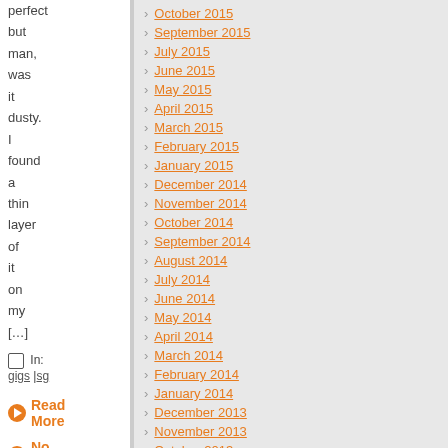perfect but man, was it dusty. I found a thin layer of it on my [...]
In: gigs |sg
Read More
No Comments
October 2015
September 2015
July 2015
June 2015
May 2015
April 2015
March 2015
February 2015
January 2015
December 2014
November 2014
October 2014
September 2014
August 2014
July 2014
June 2014
May 2014
April 2014
March 2014
February 2014
January 2014
December 2013
November 2013
October 2013
September 2013